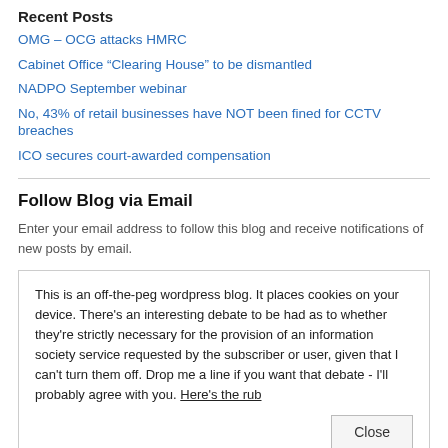Recent Posts
OMG – OCG attacks HMRC
Cabinet Office “Clearing House” to be dismantled
NADPO September webinar
No, 43% of retail businesses have NOT been fined for CCTV breaches
ICO secures court-awarded compensation
Follow Blog via Email
Enter your email address to follow this blog and receive notifications of new posts by email.
This is an off-the-peg wordpress blog. It places cookies on your device. There's an interesting debate to be had as to whether they're strictly necessary for the provision of an information society service requested by the subscriber or user, given that I can't turn them off. Drop me a line if you want that debate - I'll probably agree with you. Here's the rub
Close